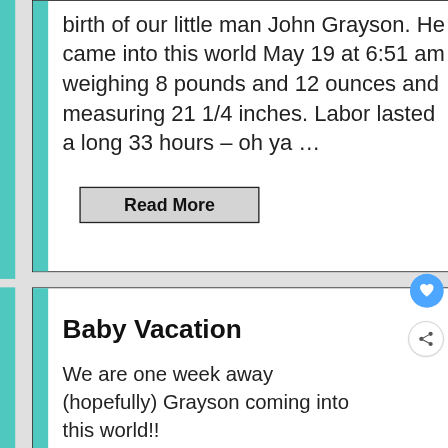birth of our little man John Grayson. He came into this world May 19 at 6:51 am weighing 8 pounds and 12 ounces and measuring 21 1/4 inches. Labor lasted a long 33 hours – oh ya …
Read More
Baby Vacation
We are one week away (hopefully) Grayson coming into this world!!
WHAT'S NEXT → Summer Rose Sangria